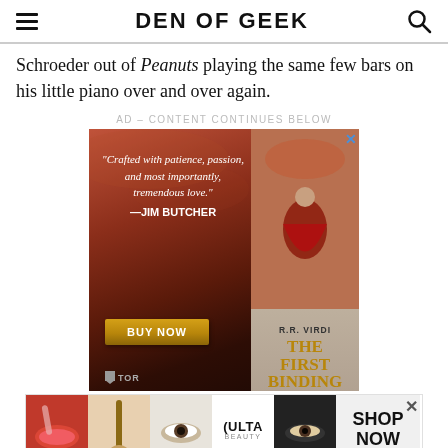DEN OF GEEK
Schroeder out of Peanuts playing the same few bars on his little piano over and over again.
AD – CONTENT CONTINUES BELOW
[Figure (illustration): Book advertisement for 'The First Binding' by R.R. Virdi with quote by Jim Butcher: 'Crafted with patience, passion, and most importantly, tremendous love.' with BUY NOW button, published by Tor]
[Figure (photo): Bottom banner advertisement for Ulta Beauty showing makeup and eye photos with SHOP NOW button]